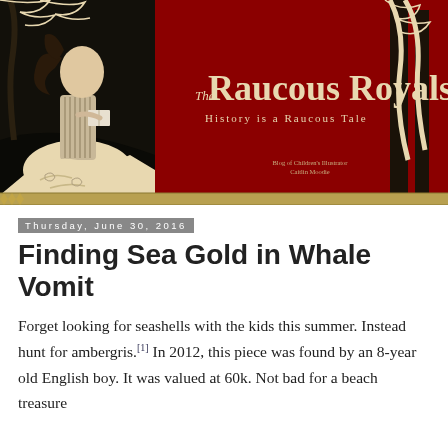[Figure (illustration): The Raucous Royals blog header banner. Dark red/crimson background with black-ink Art Nouveau style illustration of a woman in a period dress reading a book on the left side, with decorative trees. White text reads 'The Raucous Royals' and subtitle 'History is a Raucous Tale'. Small credit text lower right reads 'Blog of Children's Illustrator Caitlin Moodie'.]
Thursday, June 30, 2016
Finding Sea Gold in Whale Vomit
Forget looking for seashells with the kids this summer. Instead hunt for ambergris.[1] In 2012, this piece was found by an 8-year old English boy. It was valued at 60k. Not bad for a beach treasure